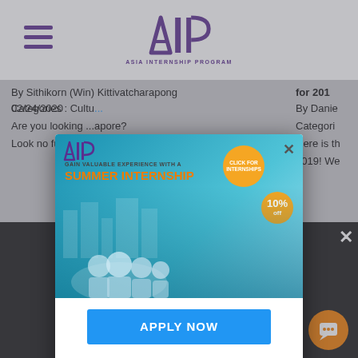[Figure (screenshot): AIP (Asia Internship Program) website screenshot with header, article content, cookie banner, and a modal popup advertising a Summer Internship with code SUMMER2022 and an APPLY NOW button]
AIP Asia Internship Program
By Sithikorn (Win) Kittivatcharapong 02/24/2020
Categories : Cultu...
Are you looking ... apore?
Look no further ... uide will
for 201...
By Danie...
Categori...
Here is th...
2019! We...
[Figure (infographic): Summer Internship promotional ad popup with AIP logo, people photo, 10% off badge, APPLY NOW button, and discount code SUMMER2022]
CODE: SUMMER2022
This ... okies
This website u... er experience. By using our website you consent to all cookies in accordance with our Cookie Privacy Policy.